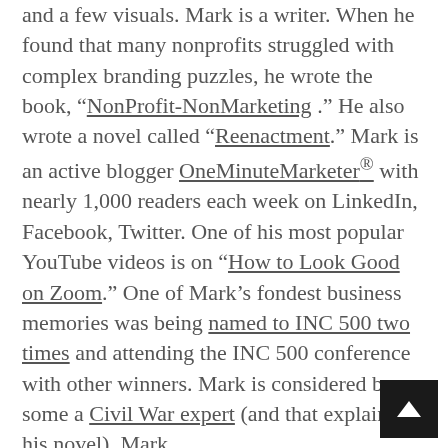and a few visuals. Mark is a writer. When he found that many nonprofits struggled with complex branding puzzles, he wrote the book, “NonProfit-NonMarketing .” He also wrote a novel called “Reenactment.” Mark is an active blogger OneMinuteMarketer® with nearly 1,000 readers each week on LinkedIn, Facebook, Twitter. One of his most popular YouTube videos is on “How to Look Good on Zoom.” One of Mark’s fondest business memories was being named to INC 500 two times and attending the INC 500 conference with other winners. Mark is considered by some a Civil War expert (and that explains his novel). Mark